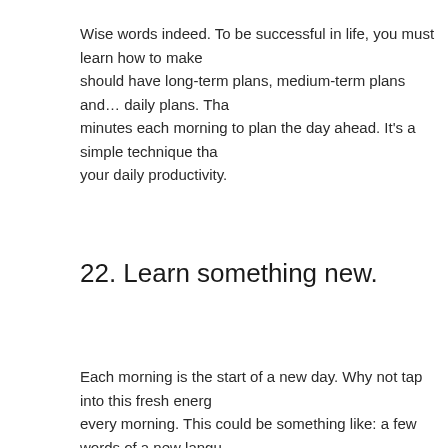Wise words indeed. To be successful in life, you must learn how to make should have long-term plans, medium-term plans and… daily plans. Tha minutes each morning to plan the day ahead. It's a simple technique tha your daily productivity.
22. Learn something new.
Each morning is the start of a new day. Why not tap into this fresh energ every morning. This could be something like: a few words of a new langu some facts related to your favorite basketball team.
23. Enjoy the quietness of the morning.
If you can get up in the morning before the majority of other people, you' quietness. You can make use of this special time by perhaps reading a b Personally, I love to walk my dog in the early morning, as the streets are whole park to itself!
24. Think of a way to help someone later in the day.
Today's society seems riddled with a me, me, me mentality. I'm sure you